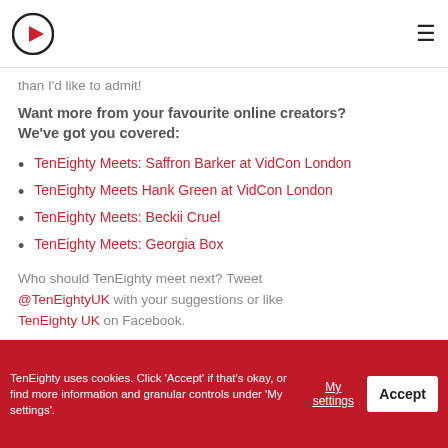TenEighty logo and navigation hamburger menu
than I'd like to admit!
Want more from your favourite online creators? We've got you covered:
TenEighty Meets: Saffron Barker at VidCon London
TenEighty Meets Hank Green at VidCon London
TenEighty Meets: Beckii Cruel
TenEighty Meets: Georgia Box
Who should TenEighty meet next? Tweet @TenEightyUK with your suggestions or like TenEighty UK on Facebook.
TenEighty uses cookies. Click 'Accept' if that's okay, or find more information and granular controls under 'My settings'. My settings Accept